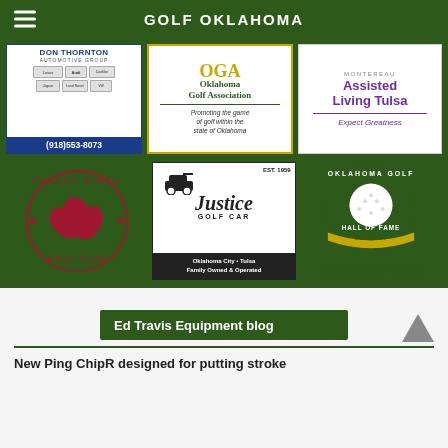GOLF OKLAHOMA
[Figure (logo): Don Thornton Automotive Group ad with car brand logos and phone number (918)553-8073]
[Figure (logo): Oklahoma Golf Association logo - Promoting the game of golf within the state of Oklahoma]
[Figure (logo): Montereau Assisted Living Tulsa - Expect Greatness]
[Figure (logo): Forest Ridge Golf Club circular logo with red leaf]
[Figure (logo): Justice Golf Car - Est. 1959 - Oklahoma City, Tulsa, Family Owned and Operated]
[Figure (logo): Oklahoma Golf Hall of Fame Class of 2021 - Est. 2014]
Ed Travis Equipment blog
New Ping ChipR designed for putting stroke